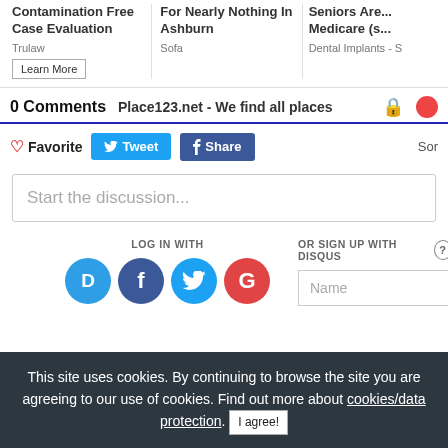[Figure (screenshot): Top advertisement bar with three ad blocks: 'Contamination Free Case Evaluation' by Trulaw with Learn More button, 'For Nearly Nothing In Ashburn' by Sofa, and 'Seniors Are... Medicare (s...' by Dental Implants]
0 Comments    Place123.net - We find all places
♡ Favorite    Tweet    f Share    Sor
Start the discussion...
LOG IN WITH
OR SIGN UP WITH DISQUS ?
Name
This site uses cookies. By continuing to browse the site you are agreeing to our use of cookies. Find out more about cookies/data protection. I agree!